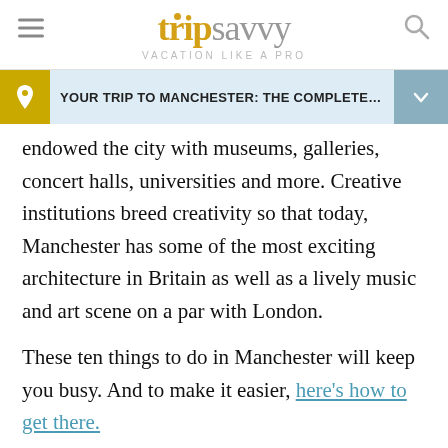tripsavvy VACATION LIKE A PRO
YOUR TRIP TO MANCHESTER: THE COMPLETE G...
endowed the city with museums, galleries, concert halls, universities and more. Creative institutions breed creativity so that today, Manchester has some of the most exciting architecture in Britain as well as a lively music and art scene on a par with London.
These ten things to do in Manchester will keep you busy. And to make it easier, here's how to get there.
01 Learn About Britain's National Sport: